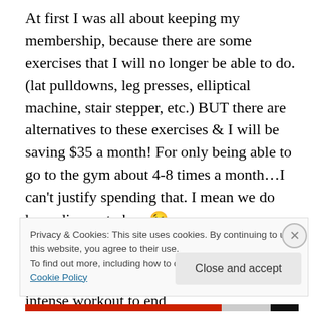At first I was all about keeping my membership, because there are some exercises that I will no longer be able to do. (lat pulldowns, leg presses, elliptical machine, stair stepper, etc.) BUT there are alternatives to these exercises & I will be saving $35 a month! For only being able to go to the gym about 4-8 times a month…I can't justify spending that. I mean we do have diapers to buy 😉
This weekend was my last day at the gym for a while, so I thought I'd put together a pretty intense workout to end
Privacy & Cookies: This site uses cookies. By continuing to use this website, you agree to their use.
To find out more, including how to control cookies, see here: Cookie Policy
Close and accept